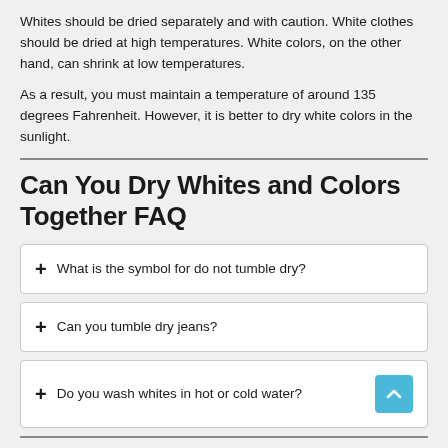Whites should be dried separately and with caution. White clothes should be dried at high temperatures. White colors, on the other hand, can shrink at low temperatures.
As a result, you must maintain a temperature of around 135 degrees Fahrenheit. However, it is better to dry white colors in the sunlight.
Can You Dry Whites and Colors Together FAQ
+ What is the symbol for do not tumble dry?
+ Can you tumble dry jeans?
+ Do you wash whites in hot or cold water?